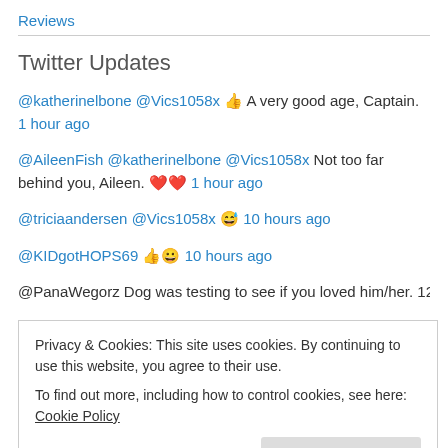Reviews
Twitter Updates
@katherinelbone @Vics1058x 👍 A very good age, Captain. 1 hour ago
@AileenFish @katherinelbone @Vics1058x Not too far behind you, Aileen. ❤️❤️ 1 hour ago
@triciaandersen @Vics1058x 😅 10 hours ago
@KIDgotHOPS69 👍😀 10 hours ago
@PanaWegorz Dog was testing to see if you loved him/her. 12 hours ago
Privacy & Cookies: This site uses cookies. By continuing to use this website, you agree to their use.
To find out more, including how to control cookies, see here: Cookie Policy
Close and accept
AmberLeighWilliams